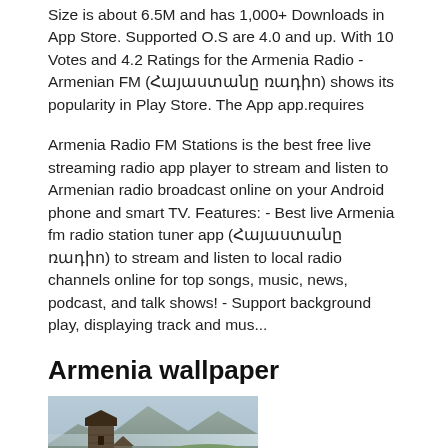Size is about 6.5M and has 1,000+ Downloads in App Store. Supported O.S are 4.0 and up. With 10 Votes and 4.2 Ratings for the Armenia Radio - Armenian FM (Հայաստանը ռադիո) shows its popularity in Play Store. The App app.requires
Armenia Radio FM Stations is the best free live streaming radio app player to stream and listen to Armenian radio broadcast online on your Android phone and smart TV. Features: - Best live Armenia fm radio station tuner app (Հայաստանը ռադիո) to stream and listen to local radio channels online for top songs, music, news, podcast, and talk shows! - Support background play, displaying track and mus...
Armenia wallpaper
[Figure (photo): Photo of an Armenian landscape with a stone tower/church building in the foreground and mountainous terrain in the background]